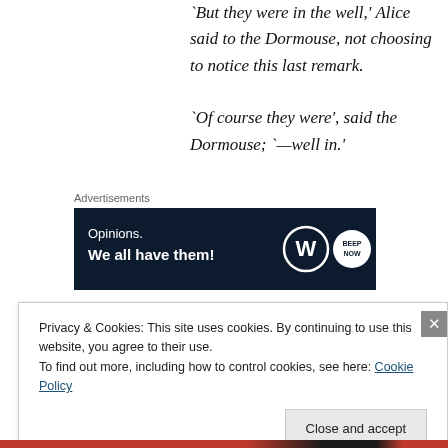`But they were in the well,' Alice said to the Dormouse, not choosing to notice this last remark. `Of course they were', said the Dormouse; `—well in.'
Advertisements
[Figure (other): Advertisement banner with dark navy background. Text reads 'Opinions. We all have them!' with WordPress logo (W circle) and a round BEEP NOW logo on the right.]
This answer so confused poor
Privacy & Cookies: This site uses cookies. By continuing to use this website, you agree to their use.
To find out more, including how to control cookies, see here: Cookie Policy
Close and accept